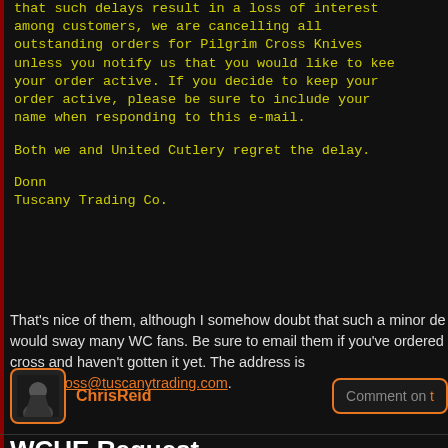that such delays result in a loss of interest among customers, we are cancelling all outstanding orders for Pilgrim Cross Knives unless you notify us that you would like to keep your order active. If you decide to keep your order active, please be sure to include your name when responding to this e-mail.

Both we and United Cutlery regret the delay.

Donn
Tuscany Trading Co.
That's nice of them, although I somehow doubt that such a minor de... would sway many WC fans. Be sure to email them if you've ordered... cross and haven't gotten it yet. The address is pilgrimcross@tuscanytrading.com.
[Figure (photo): User avatar for ChrisReid - a small thumbnail image with dark background]
ChrisReid
Comment on ...
WCUE Request
A request for help with the upcoming Wing Commander: Unknown E... project from Pedro...